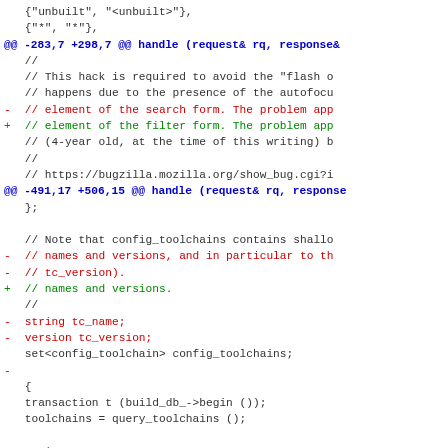Unified diff / code patch showing changes to C++ source file
[Figure (screenshot): A unified diff of C++ source code showing removed lines (red, prefixed with -), added lines (green, prefixed with +), context lines (black), and hunk headers (blue). Contains two hunks: @@ -283,7 +298,7 @@ handle (request& rq, response& and @@ -491,17 +506,15 @@ handle (request& rq, response&.]